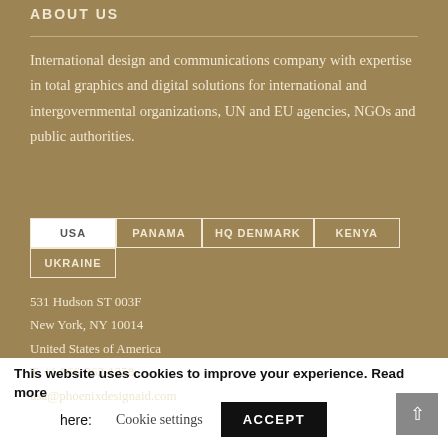ABOUT US
International design and communications company with expertise in total graphics and digital solutions for international and intergovernmental organizations, UN and EU agencies, NGOs and public authorities.
| USA | PANAMA | HQ DENMARK | KENYA |
| --- | --- | --- | --- |
| UKRAINE |  |  |  |
531 Hudson ST 003F
New York, NY 10014
United States of America
T. +1 866-362-1258
usa@phoenixdesignaid.com
This website uses cookies to improve your experience. Read more here:   Cookie settings   ACCEPT